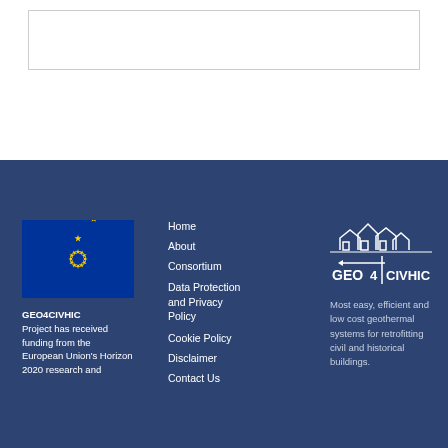[Figure (other): Empty white box with border at top of page]
[Figure (logo): European Union flag: blue rectangle with 12 yellow stars in a circle]
GEO4CIVHIC Project has received funding from the European Union's Horizon 2020 research and innovation
Home
About
Consortium
Data Protection and Privacy Policy
Cookie Policy
Disclaimer
Contact Us
[Figure (logo): GEO4CIVHIC logo with house silhouettes above text GEO 4 CIVHIC and an arrow]
Most easy, efficient and low cost geothermal systems for retrofitting civil and historical buildings.